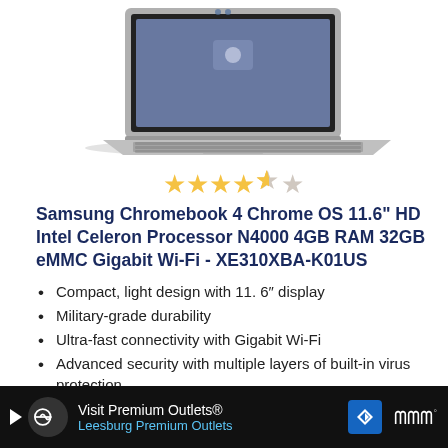[Figure (photo): Samsung Chromebook 4 laptop product photo showing silver laptop open with keyboard visible, viewed from above at slight angle]
[Figure (other): 4.5 out of 5 stars rating shown as gold star icons]
Samsung Chromebook 4 Chrome OS 11.6" HD Intel Celeron Processor N4000 4GB RAM 32GB eMMC Gigabit Wi-Fi - XE310XBA-K01US
Compact, light design with 11. 6″ display
Military-grade durability
Ultra-fast connectivity with Gigabit Wi-Fi
Advanced security with multiple layers of built-in virus protection
12. 5 hours of battery life
[Figure (other): Advertisement banner for Visit Premium Outlets - Leesburg Premium Outlets with navigation icons on dark background]